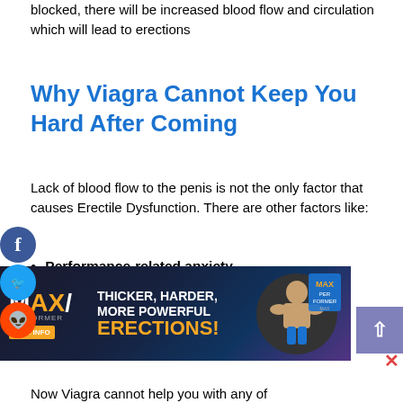blocked, there will be increased blood flow and circulation which will lead to erections
Why Viagra Cannot Keep You Hard After Coming
Lack of blood flow to the penis is not the only factor that causes Erectile Dysfunction. There are other factors like:
Performance-related anxiety
Stress
Poor diet and lifestyle habits
Porn over stimulation
[Figure (infographic): Advertisement banner for MAX Performer supplement with tagline THICKER, HARDER, MORE POWERFUL ERECTIONS!]
Now Viagra cannot help you with any of